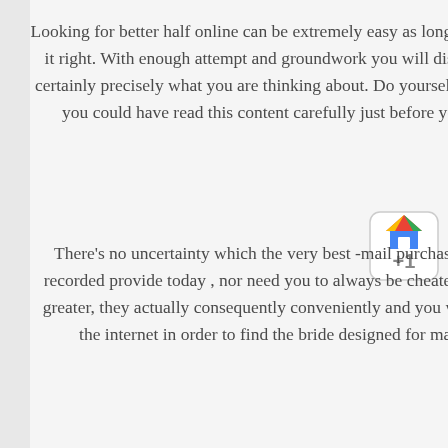Looking for better half online can be extremely easy as long as you know how to do it right. With enough attempt and groundwork you will discover the bride that is certainly precisely what you are thinking about. Do yourself a favor and make sure you could have read this content carefully just before you actually start off.
[Figure (logo): Google +1 button icon with colorful house logo and +1 text in gray]
There's no uncertainty which the very best -mail purchase wedding brides are recorded provide today , nor need you to always be cheated in any respect. Even greater, they actually consequently conveniently and you will locate them within the internet in order to find the bride designed for marital relationship.